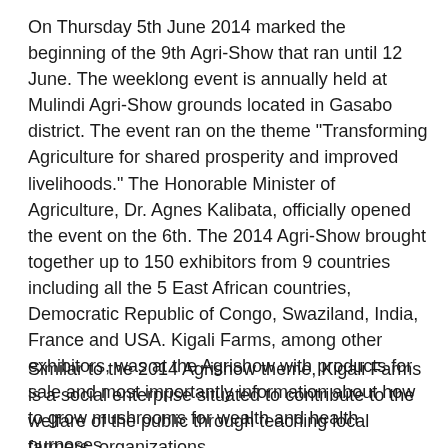On Thursday 5th June 2014 marked the beginning of the 9th Agri-Show that ran until 12 June. The weeklong event is annually held at Mulindi Agri-Show grounds located in Gasabo district. The event ran on the theme "Transforming Agriculture for shared prosperity and improved livelihoods." The Honorable Minister of Agriculture, Dr. Agnes Kalibata, officially opened the event on the 6th. The 2014 Agri-Show brought together up to 150 exhibitors from 9 countries including all the 5 East African countries, Democratic Republic of Congo, Swaziland, India, France and USA. Kigali Farms, among other exhibitors, was at the Agrishow with products for sale and most importantly information about how to grow mushrooms for wealth and health purposes.
Similar to the 2014 Agrishow theme, Kigali Farms is a social enterprise situated to contribute to the welfare of the public through teaching local farmers, organizations